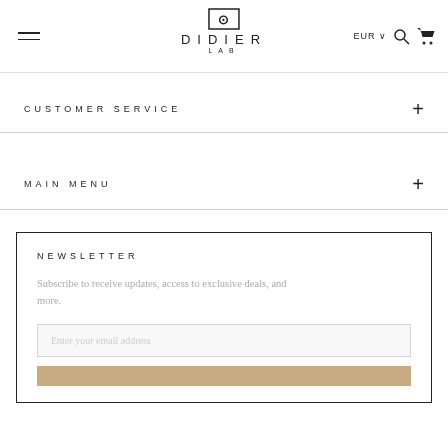DIDIER LAB — EUR — hamburger menu — search — cart
CUSTOMER SERVICE
MAIN MENU
NEWSLETTER
Subscribe to receive updates, access to exclusive deals, and more.
Enter your email address